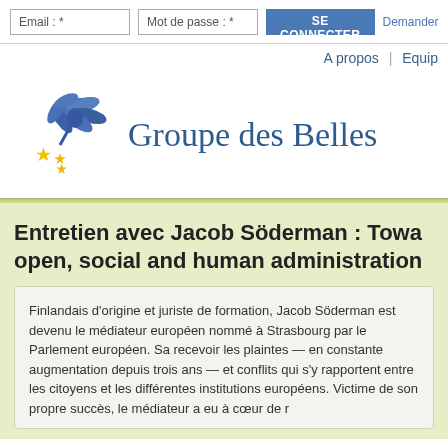Email : * | Mot de passe : * | SE CONNECTER | Demander
A propos | Equip
[Figure (logo): Blue stylized bird/flower logo with gold stars, representing Groupe des Belles-Lettres or similar European organization]
Groupe des Belles
Entretien avec Jacob Söderman : Towa open, social and human administration
Finlandais d'origine et juriste de formation, Jacob Söderman est devenu le médiateur européen nommé à Strasbourg par le Parlement européen. Sa recevoir les plaintes — en constante augmentation depuis trois ans — et conflits qui s'y rapportent entre les citoyens et les différentes institutions européens. Victime de son propre succès, le médiateur a eu à cœur de r